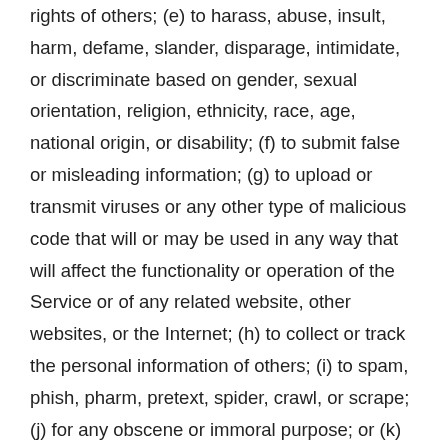rights of others; (e) to harass, abuse, insult, harm, defame, slander, disparage, intimidate, or discriminate based on gender, sexual orientation, religion, ethnicity, race, age, national origin, or disability; (f) to submit false or misleading information; (g) to upload or transmit viruses or any other type of malicious code that will or may be used in any way that will affect the functionality or operation of the Service or of any related website, other websites, or the Internet; (h) to collect or track the personal information of others; (i) to spam, phish, pharm, pretext, spider, crawl, or scrape; (j) for any obscene or immoral purpose; or (k) to interfere with or circumvent the security features of the Service or any related website, other websites, or the Internet. We reserve the right to terminate your use of the Service or any related website for violating any of the